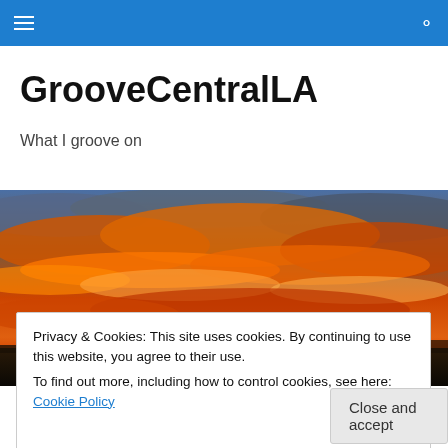GrooveCentralLA — navigation bar with hamburger menu and search icon
GrooveCentralLA
What I groove on
[Figure (photo): Wide panoramic sunset photo with vivid orange and red clouds over a dark silhouetted horizon with what appears to be a roller coaster or pier structure on the right side.]
Privacy & Cookies: This site uses cookies. By continuing to use this website, you agree to their use.
To find out more, including how to control cookies, see here: Cookie Policy
Close and accept